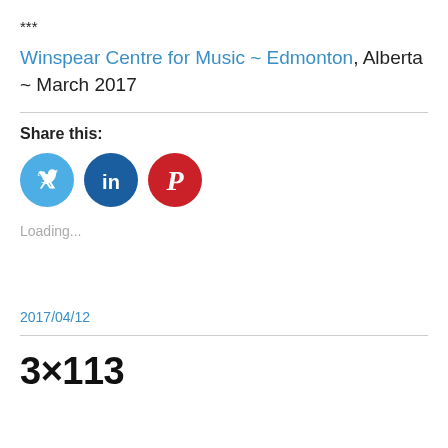***
Winspear Centre for Music ~ Edmonton, Alberta ~ March 2017
Share this:
[Figure (infographic): Three social media share buttons: Twitter (blue), LinkedIn (dark blue), Pinterest (red)]
Loading...
2017/04/12
3×113